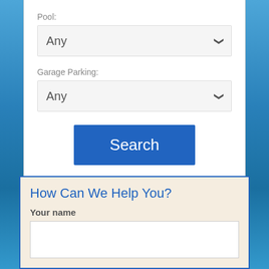Pool:
Any
Garage Parking:
Any
Search
How Can We Help You?
Your name